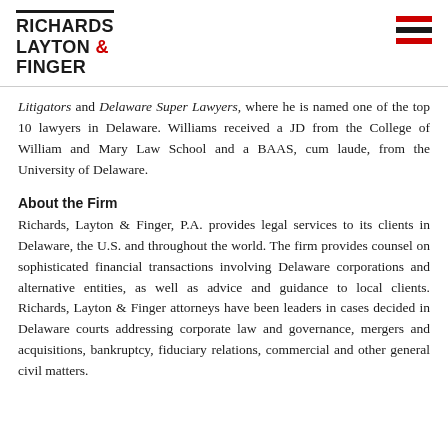[Figure (logo): Richards Layton & Finger law firm logo with text and red hamburger menu icon]
Litigators and Delaware Super Lawyers, where he is named one of the top 10 lawyers in Delaware. Williams received a JD from the College of William and Mary Law School and a BAAS, cum laude, from the University of Delaware.
About the Firm
Richards, Layton & Finger, P.A. provides legal services to its clients in Delaware, the U.S. and throughout the world. The firm provides counsel on sophisticated financial transactions involving Delaware corporations and alternative entities, as well as advice and guidance to local clients. Richards, Layton & Finger attorneys have been leaders in cases decided in Delaware courts addressing corporate law and governance, mergers and acquisitions, bankruptcy, fiduciary relations, commercial and other general civil matters.